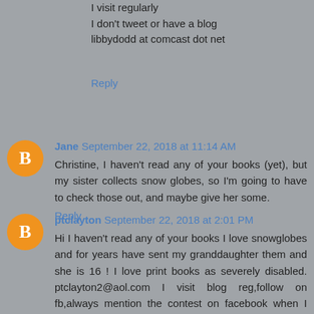I visit regularly
I don't tweet or have a blog
libbydodd at comcast dot net
Reply
Jane  September 22, 2018 at 11:14 AM
Christine, I haven't read any of your books (yet), but my sister collects snow globes, so I'm going to have to check those out, and maybe give her some.
Reply
ptclayton  September 22, 2018 at 2:01 PM
Hi I haven't read any of your books I love snowglobes and for years have sent my granddaughter them and she is 16 ! I love print books as severely disabled. ptclayton2@aol.com I visit blog reg,follow on fb,always mention the contest on facebook when I see the post and thank you for the chance as i don;t twitter!